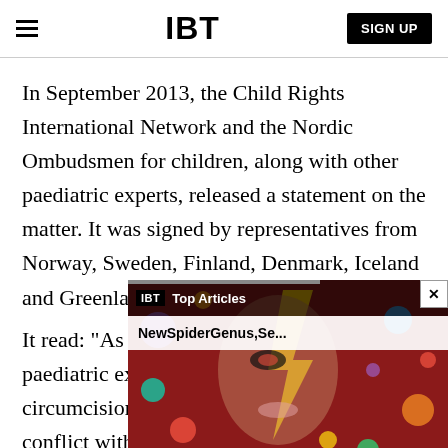IBT | SIGN UP
In September 2013, the Child Rights International Network and the Nordic Ombudsmen for children, along with other paediatric experts, released a statement on the matter. It was signed by representatives from Norway, Sweden, Finland, Denmark, Iceland and Gree[nland]
It read: "As Ombudsmen fo[r children and] paediatric experts we are o[f the opinion that] circumcision without medical indication is in conflict with Article 12 of the Convention on the
[Figure (screenshot): IBT Top Articles popup overlay showing a thumbnail image (David Bowie-style illustrated face with colorful planets) and article title 'NewSpiderGenus,Se...' with a close button (×) in the top right corner.]